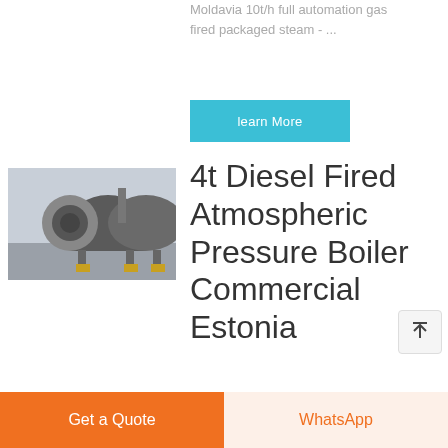Moldavia 10t/h full automation gas fired packaged steam - ...
learn More
[Figure (photo): Industrial boiler equipment photo showing large cylindrical boiler unit in a factory/outdoor setting]
4t Diesel Fired Atmospheric Pressure Boiler Commercial Estonia
4t Gas Oil fired boiler...
Get a Quote
WhatsApp